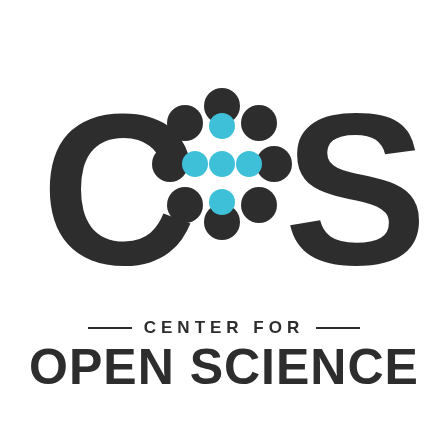[Figure (logo): Center for Open Science (COS) logo. Large dark letters C and S flank a circular arrangement of alternating dark and cyan/blue dots forming a flower/atom pattern. Below, horizontal lines flank the text 'CENTER FOR' in spaced caps, and large bold 'OPEN SCIENCE' underneath.]